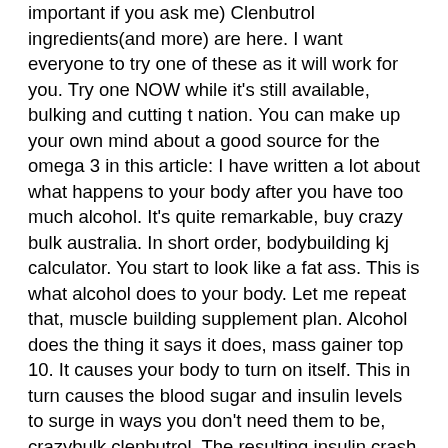important if you ask me) Clenbutrol ingredients(and more) are here. I want everyone to try one of these as it will work for you. Try one NOW while it's still available, bulking and cutting t nation. You can make up your own mind about a good source for the omega 3 in this article: I have written a lot about what happens to your body after you have too much alcohol. It's quite remarkable, buy crazy bulk australia. In short order, bodybuilding kj calculator. You start to look like a fat ass. This is what alcohol does to your body. Let me repeat that, muscle building supplement plan. Alcohol does the thing it says it does, mass gainer top 10. It causes your body to turn on itself. This in turn causes the blood sugar and insulin levels to surge in ways you don't need them to be, crazybulk clenbutrol. The resulting insulin crash will not only damage your brain, but will hurt your body. One small, yet important, point: There is a difference